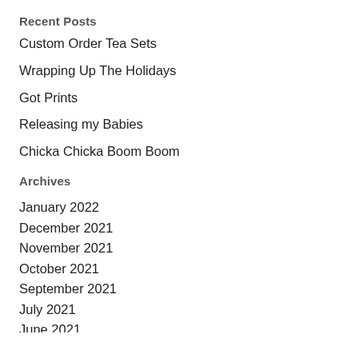Recent Posts
Custom Order Tea Sets
Wrapping Up The Holidays
Got Prints
Releasing my Babies
Chicka Chicka Boom Boom
Archives
January 2022
December 2021
November 2021
October 2021
September 2021
July 2021
June 2021